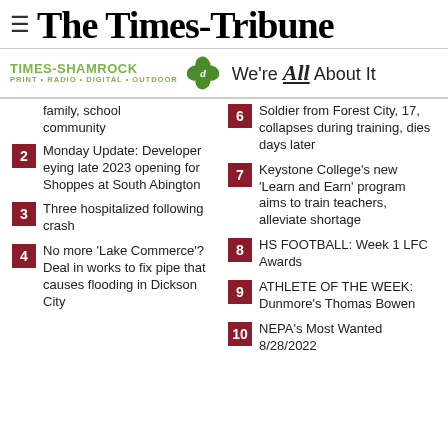The Times-Tribune
[Figure (logo): Times-Shamrock Print Radio Digital Outdoor logo with shamrock graphic and 'We're All About It' tagline]
family, school community
2 Monday Update: Developer eying late 2023 opening for Shoppes at South Abington
3 Three hospitalized following crash
4 No more 'Lake Commerce'? Deal in works to fix pipe that causes flooding in Dickson City
6 Soldier from Forest City, 17, collapses during training, dies days later
7 Keystone College's new 'Learn and Earn' program aims to train teachers, alleviate shortage
8 HS FOOTBALL: Week 1 LFC Awards
9 ATHLETE OF THE WEEK: Dunmore's Thomas Bowen
10 NEPA's Most Wanted 8/28/2022